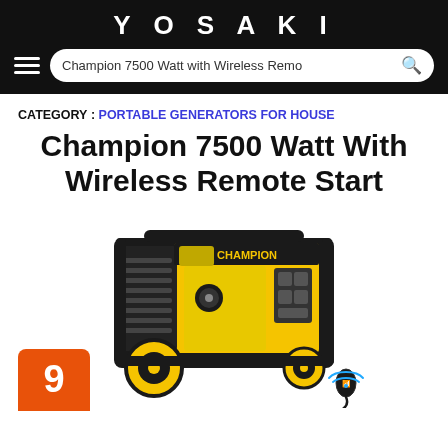YOSAKI
Champion 7500 Watt with Wireless Remote [search bar]
CATEGORY : PORTABLE GENERATORS FOR HOUSE
Champion 7500 Watt With Wireless Remote Start
[Figure (photo): Champion 7500 Watt portable generator with yellow and black color scheme, large wheels, control panel with outlets, and a wireless remote start fob hanging from the unit.]
9